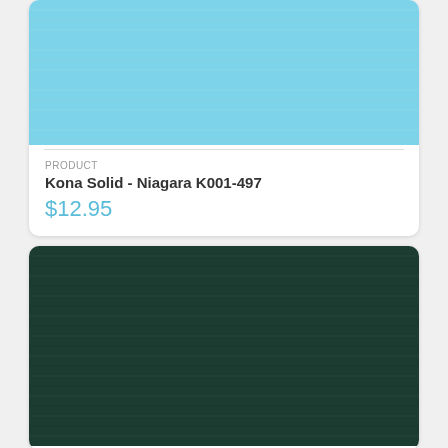[Figure (photo): Light blue fabric swatch showing Kona Solid Niagara K001-497 textile texture]
PRODUCT
Kona Solid - Niagara K001-497
$12.95
[Figure (photo): Dark green fabric swatch showing Kona Solid textile texture]